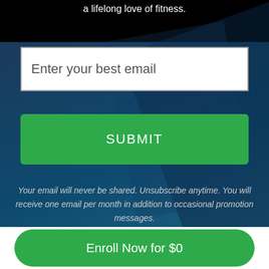a lifelong love of fitness.
[Figure (screenshot): Email input field with placeholder text 'Enter your best email' on a white background with grey border]
[Figure (other): Green SUBMIT button with white uppercase text]
Your email will never be shared. Unsubscribe anytime. You will receive one email per month in addition to occasional promotion messages.
[Figure (other): Green rounded button with text 'Enroll Now for $0']